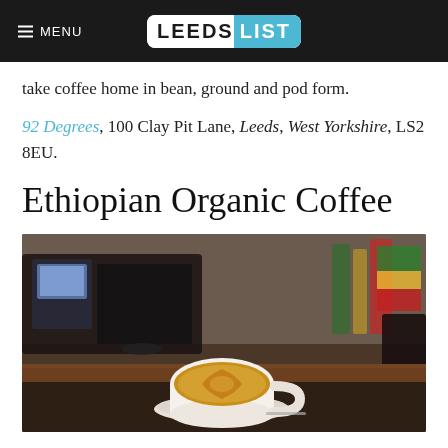MENU | LEEDS LIST
take coffee home in bean, ground and pod form.
92 Degrees, 100 Clay Pit Lane, Leeds, West Yorkshire, LS2 8EU.
Ethiopian Organic Coffee
[Figure (photo): A white coffee cup with latte art on a saucer placed on a wooden bar counter, with an espresso machine and coffee shop interior blurred in the background. Ethiopian flags and bottles visible on right side.]